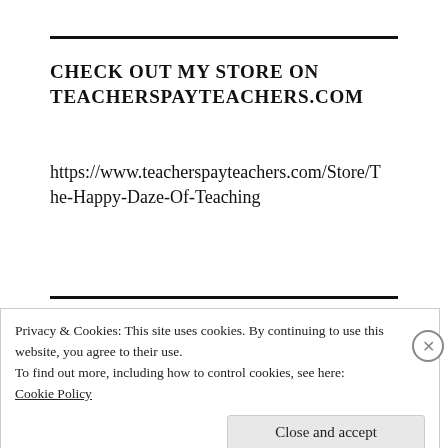CHECK OUT MY STORE ON TEACHERSPAYTEACHERS.COM
https://www.teacherspayteachers.com/Store/The-Happy-Daze-Of-Teaching
Privacy & Cookies: This site uses cookies. By continuing to use this website, you agree to their use.
To find out more, including how to control cookies, see here:
Cookie Policy
Close and accept